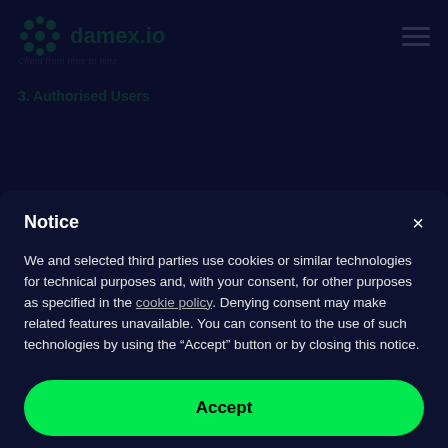[Figure (logo): damex.io logo with green icon and green text on dark background]
Client from time to time.
3. Authorised Users
Notice
We and selected third parties use cookies or similar technologies for technical purposes and, with your consent, for other purposes as specified in the cookie policy. Denying consent may make related features unavailable. You can consent to the use of such technologies by using the "Accept" button or by closing this notice.
Accept